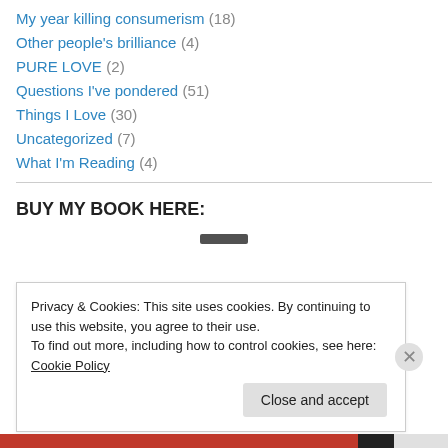My year killing consumerism (18)
Other people's brilliance (4)
PURE LOVE (2)
Questions I've pondered (51)
Things I Love (30)
Uncategorized (7)
What I'm Reading (4)
BUY MY BOOK HERE:
Privacy & Cookies: This site uses cookies. By continuing to use this website, you agree to their use.
To find out more, including how to control cookies, see here: Cookie Policy
Close and accept